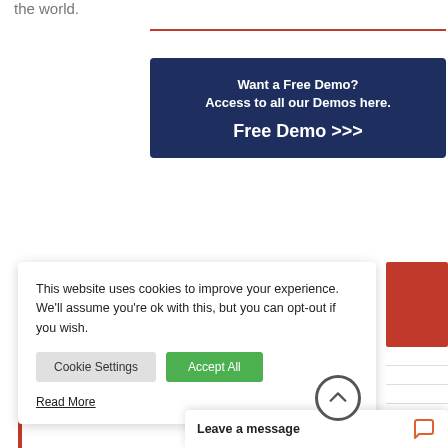the world.
[Figure (infographic): Dark navy blue banner with white text: 'Want a Free Demo? Access to all our Demos here. Free Demo >>>']
This website uses cookies to improve your experience. We'll assume you're ok with this, but you can opt-out if you wish.
Cookie Settings | Accept All
Read More
Leave a message